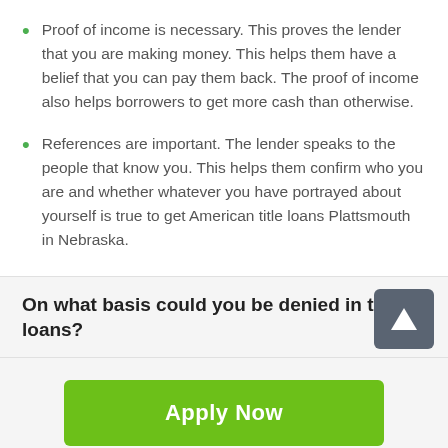Proof of income is necessary. This proves the lender that you are making money. This helps them have a belief that you can pay them back. The proof of income also helps borrowers to get more cash than otherwise.
References are important. The lender speaks to the people that know you. This helps them confirm who you are and whether whatever you have portrayed about yourself is true to get American title loans Plattsmouth in Nebraska.
On what basis could you be denied in title loans?
[Figure (other): Up arrow button icon in a dark gray rounded square]
Apply Now
Applying does NOT affect your credit score! No credit check to apply.